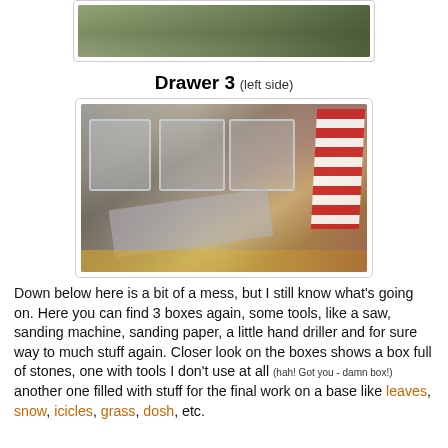[Figure (photo): Top portion of a photo showing contents of a drawer, partially cropped]
Drawer 3 (left side)
[Figure (photo): Photo of Drawer 3 left side showing three clear plastic boxes, tape, tools, a red and white striped item, and various other items in a messy arrangement]
Down below here is a bit of a mess, but I still know what's going on. Here you can find 3 boxes again, some tools, like a saw, sanding machine, sanding paper, a little hand driller and for sure way to much stuff again. Closer look on the boxes shows a box full of stones, one with tools I don't use at all (hah! Got you - damn box!) another one filled with stuff for the final work on a base like leaves, snow, icicles, grass, dosh, etc.